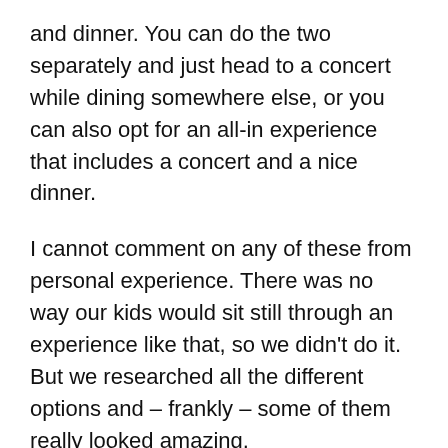and dinner. You can do the two separately and just head to a concert while dining somewhere else, or you can also opt for an all-in experience that includes a concert and a nice dinner.
I cannot comment on any of these from personal experience. There was no way our kids would sit still through an experience like that, so we didn't do it. But we researched all the different options and – frankly – some of them really looked amazing.
So if you are looking for a special experience in Salzburg, you may want to plan this for your first evening in the city.
[Figure (screenshot): Advertisement banner for KAY Jewelers at the bottom of the page, with text 'Looking for a gift?' and 'SHOP ALL JEWELRY' button, overlaid on dark background with partial article text visible.]